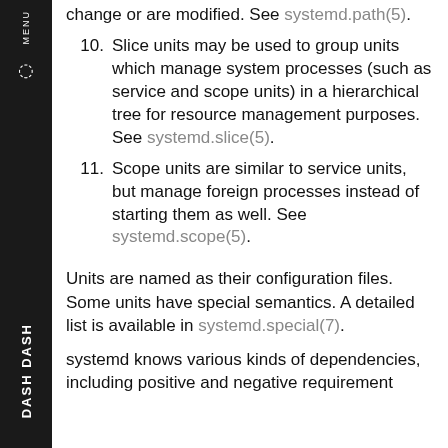change or are modified. See systemd.path(5).
10. Slice units may be used to group units which manage system processes (such as service and scope units) in a hierarchical tree for resource management purposes. See systemd.slice(5).
11. Scope units are similar to service units, but manage foreign processes instead of starting them as well. See systemd.scope(5).
Units are named as their configuration files. Some units have special semantics. A detailed list is available in systemd.special(7).
systemd knows various kinds of dependencies, including positive and negative requirement